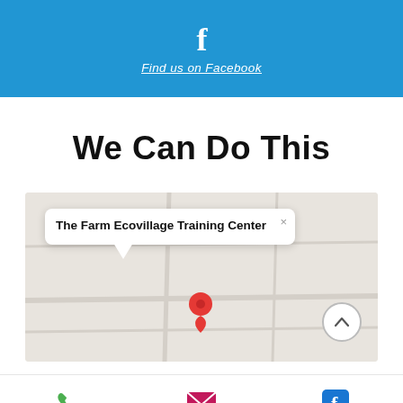[Figure (screenshot): Blue Facebook banner with 'f' icon and 'Find us on Facebook' link in white italic underlined text]
We Can Do This
[Figure (map): Google Maps screenshot showing a map with a location pin and popup label 'The Farm Ecovillage Training Center']
[Figure (infographic): Contact bar with Phone (green phone icon), Email (pink envelope icon), Facebook (blue Facebook icon)]